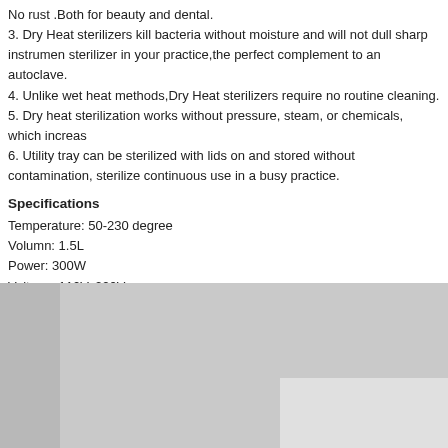No rust .Both for beauty and dental. 3. Dry Heat sterilizers kill bacteria without moisture and will not dull sharp instruments. Use this sterilizer in your practice,the perfect complement to an autoclave. 4. Unlike wet heat methods,Dry Heat sterilizers require no routine cleaning. 5. Dry heat sterilization works without pressure, steam, or chemicals, which increases safety. 6. Utility tray can be sterilized with lids on and stored without contamination, sterilize and store for continuous use in a busy practice.
Specifications
Temperature: 50-230 degree
Volumn: 1.5L
Power: 300W
Voltage: 110V, 220V
Frequency: 50-60Hz
Weight: 4.1KG
Dimensions: 36.5×24×22.5cm
Materials: Acrylic
SKU: DNFS-D-NV-210-220
[Figure (photo): Photo of dry heat sterilizer device, gray tones, product image]